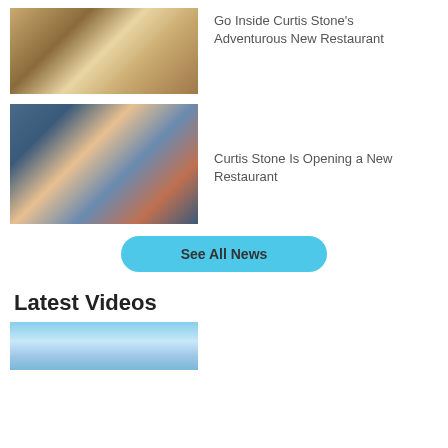[Figure (photo): Chef tossing pasta in a restaurant kitchen]
Go Inside Curtis Stone's Adventurous New Restaurant
[Figure (photo): Curtis Stone smiling in a restaurant kitchen wearing a plaid shirt]
Curtis Stone Is Opening a New Restaurant
See All News
Latest Videos
[Figure (photo): Latest videos thumbnail showing outdoor landscape]